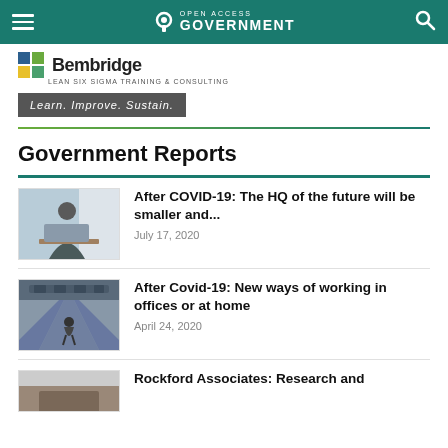Open Access Government
[Figure (logo): Bembridge Lean Six Sigma Training & Consulting logo with colored squares]
Learn. Improve. Sustain.
Government Reports
[Figure (photo): Person working at desk near window, article thumbnail]
After COVID-19: The HQ of the future will be smaller and...
July 17, 2020
[Figure (photo): Industrial/office corridor with person walking, article thumbnail]
After Covid-19: New ways of working in offices or at home
April 24, 2020
[Figure (photo): Partial thumbnail for Rockford Associates article]
Rockford Associates: Research and